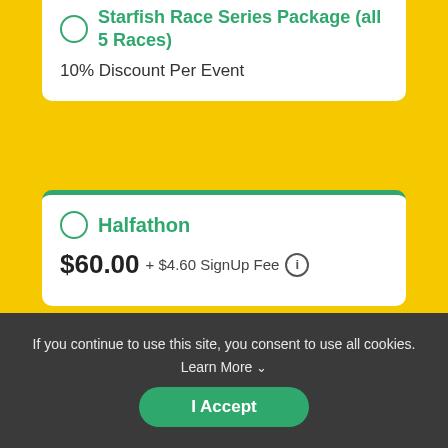Starfish Race Series Package (all 5 Races)
10% Discount Per Event
Halfathon
$60.00 + $4.60 SignUp Fee
If you continue to use this site, you consent to use all cookies. Learn More
I Accept